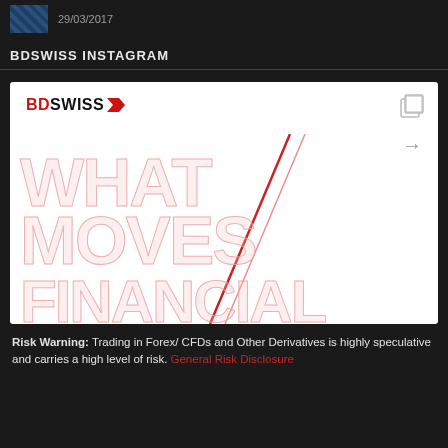29/03/2017
BDSWISS INSTAGRAM
[Figure (screenshot): BDSwiss Instagram post screenshot showing the BDSwiss logo with red arrow in top left, a gallery/carousel icon in the top right, a right arrow navigation icon, and large stylized text reading 'WHAT MOVES FINANCIAL' in red outline block letters with line-fill pattern on a white background.]
Risk Warning: Trading in Forex/ CFDs and Other Derivatives is highly speculative and carries a high level of risk. General Risk Disclosure